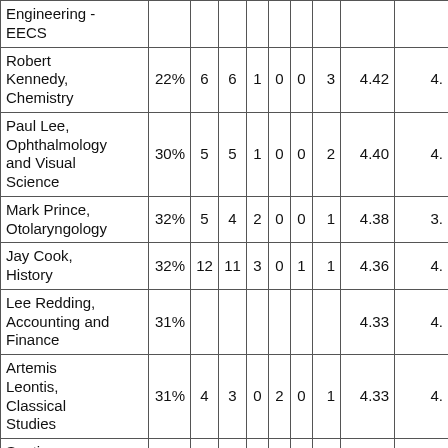| Name/Dept | % |  |  |  |  |  |  | Score1 | Score2 |
| --- | --- | --- | --- | --- | --- | --- | --- | --- | --- |
| Engineering - EECS |  |  |  |  |  |  |  |  |  |
| Robert Kennedy, Chemistry | 22% | 6 | 6 | 1 | 0 | 0 | 3 | 4.42 | 4. |
| Paul Lee, Ophthalmology and Visual Science | 30% | 5 | 5 | 1 | 0 | 0 | 2 | 4.40 | 4. |
| Mark Prince, Otolaryngology | 32% | 5 | 4 | 2 | 0 | 0 | 1 | 4.38 | 3. |
| Jay Cook, History | 32% | 12 | 11 | 3 | 0 | 1 | 1 | 4.36 | 4. |
| Lee Redding, Accounting and Finance | 31% |  |  |  |  |  |  | 4.33 | 4. |
| Artemis Leontis, Classical Studies | 31% | 4 | 3 | 0 | 2 | 0 | 1 | 4.33 | 4. |
| Santiago Schnell, Molecular and | 27% | 8 | 6 | 4 | 0 | 0 | 4 | 4.33 | 4. |